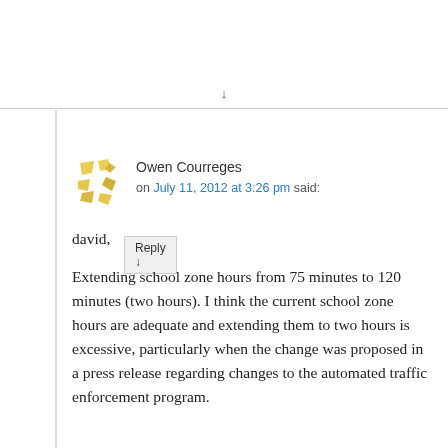Reply ↓
Owen Courreges on July 11, 2012 at 3:26 pm said:
david,

Extending school zone hours from 75 minutes to 120 minutes (two hours). I think the current school zone hours are adequate and extending them to two hours is excessive, particularly when the change was proposed in a press release regarding changes to the automated traffic enforcement program.